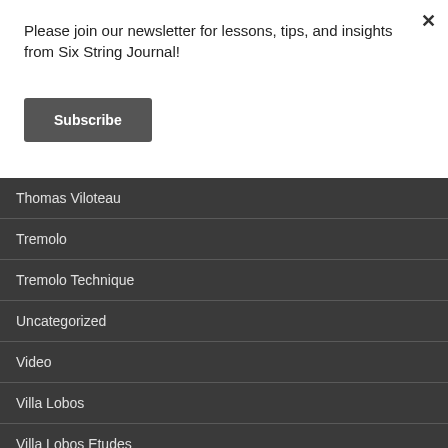Please join our newsletter for lessons, tips, and insights from Six String Journal!
Subscribe
Thomas Viloteau
Tremolo
Tremolo Technique
Uncategorized
Video
Villa Lobos
Villa Lobos Etudes
Warm up